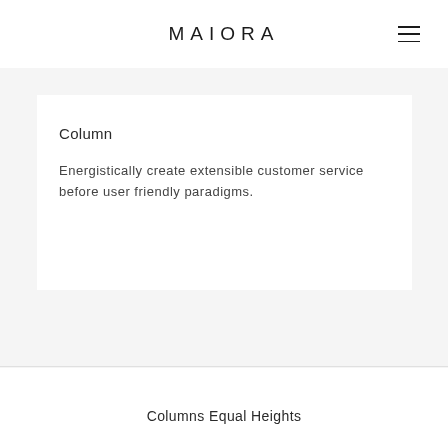MAIORA
Column
Energistically create extensible customer service before user friendly paradigms.
Columns Equal Heights